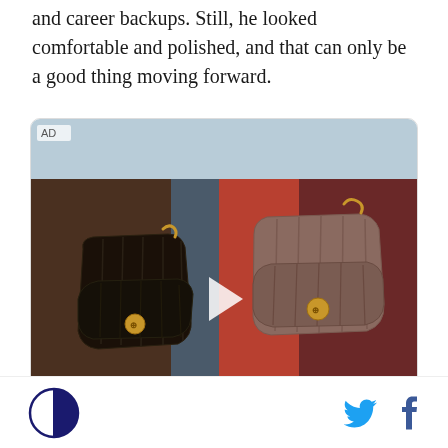and career backups. Still, he looked comfortable and polished, and that can only be a good thing moving forward.
[Figure (photo): Advertisement showing two women carrying quilted leather Tory Burch handbags — one black on the left, one mauve/taupe on the right — with a video play button overlay in the center.]
SB Nation logo | Twitter icon | Facebook icon